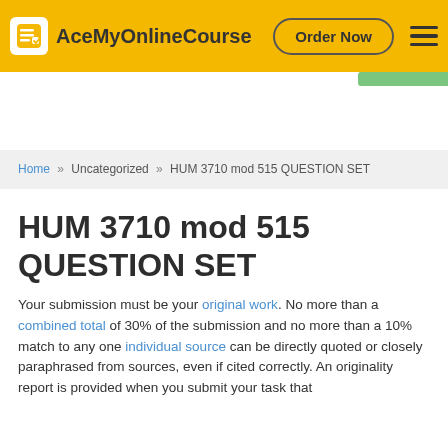[Figure (logo): AceMyOnlineCourse website header with yellow background, logo icon, site name, Order Now button, and hamburger menu]
Home » Uncategorized » HUM 3710 mod 515 QUESTION SET
HUM 3710 mod 515 QUESTION SET
Your submission must be your original work. No more than a combined total of 30% of the submission and no more than a 10% match to any one individual source can be directly quoted or closely paraphrased from sources, even if cited correctly. An originality report is provided when you submit your task that